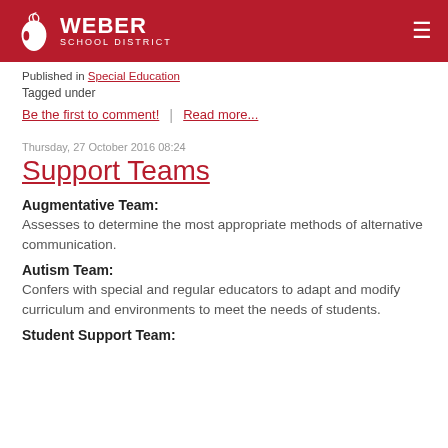Weber School District
Published in Special Education
Tagged under
Be the first to comment! | Read more...
Thursday, 27 October 2016 08:24
Support Teams
Augmentative Team:
Assesses to determine the most appropriate methods of alternative communication.
Autism Team:
Confers with special and regular educators to adapt and modify curriculum and environments to meet the needs of students.
Student Support Team: